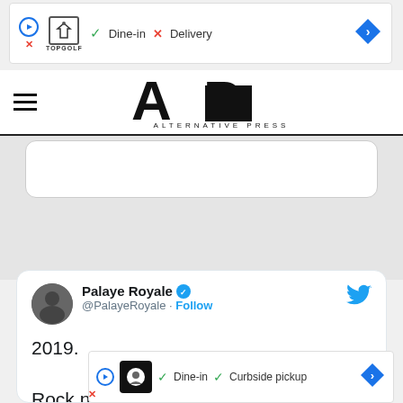[Figure (screenshot): Top advertisement banner showing TopGolf with Dine-in checkmark and Delivery X mark]
[Figure (logo): Alternative Press (AP) logo with hamburger menu icon]
[Figure (screenshot): Tweet from Palaye Royale (@PalayeRoyale) with verified badge. Text: '2019. Rock n' roll and live entertainment is soft. Never have we heard about a concert bei... we...']
[Figure (screenshot): Bottom advertisement banner showing Dine-in checkmark and Curbside pickup checkmark]